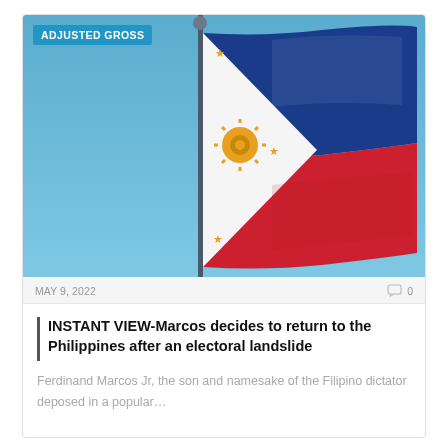[Figure (photo): Philippine flag waving on a flagpole against a clear blue sky, with the blue and red horizontal stripes and white triangle with golden sun visible.]
ADJUSTED GROSS
MAY 9, 2022
0
INSTANT VIEW-Marcos decides to return to the Philippines after an electoral landslide
Ferdinand Marcos Jr, the son and namesake of the Filipino dictator deposed in a popular…